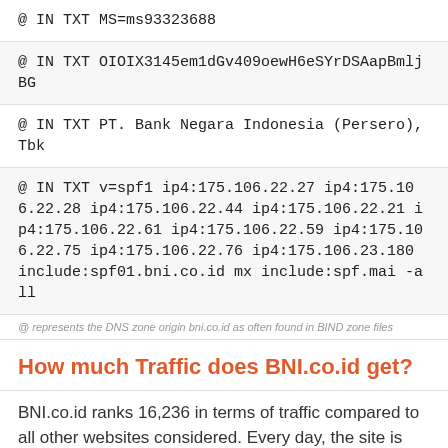@ IN TXT MS=ms93323688
@ IN TXT OIOIX3145em1dGv409oewH6eSYrDSAapBmljBG
@ IN TXT PT. Bank Negara Indonesia (Persero), Tbk
@ IN TXT v=spf1 ip4:175.106.22.27 ip4:175.106.22.28 ip4:175.106.22.44 ip4:175.106.22.21 ip4:175.106.22.61 ip4:175.106.22.59 ip4:175.106.22.75 ip4:175.106.22.76 ip4:175.106.23.180 include:spf01.bni.co.id mx include:spf.mai -all
@ represents the DNS zone origin bni.co.id as often found in BIND zone files
How much Traffic does BNI.co.id get?
BNI.co.id ranks 16,236 in terms of traffic compared to all other websites considered. Every day, the site is